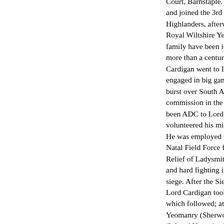Court, Barnstaple. He was educated and joined the 3rd Battalion Argyll Highlanders, afterwards serving Royal Wiltshire Yeomanry, with w family have been identified ever more than a century ago. In Nov Cardigan went to India, and it wa engaged in big game shooting th burst over South Africa, Lord Ca commission in the Royal Wiltshi been ADC to Lord Wolseley in 1 volunteered his military services He was employed with the trans Natal Field Force from 23 Octob Relief of Ladysmith, and underw and hard fighting in connection v siege. After the Siege of Ladysm Lord Cardigan took an active pa which followed; attached to the 3 Yeomanry (Sherwood Foresters' Colonel Younghusband. He was 190O, in connection with the op West. He was next in charge of Dorrien's transport, in the advan Pretoria (part of General Sir Ia